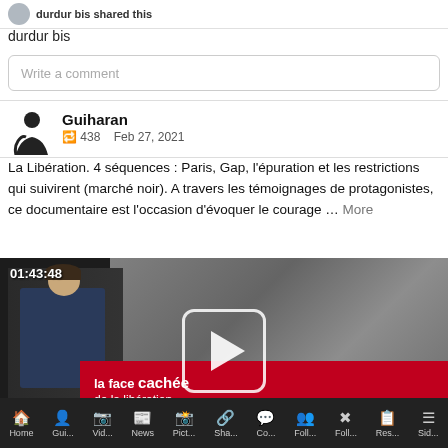durdur bis
Write a comment
Guiharan
438   Feb 27, 2021
La Libération. 4 séquences : Paris, Gap, l'épuration et les restrictions qui suivirent (marché noir). A travers les témoignages de protagonistes, ce documentaire est l'occasion d'évoquer le courage … More
[Figure (screenshot): Video thumbnail showing a presenter in a suit, black-and-white historical photos in the background, and a red banner reading 'la face cachée de la libération'. Timer shows 01:43:48 with a play button overlay.]
Home   Gui...   Vid...   News   Pict...   Sha...   Co...   Foll...   Foll...   Res...   Sid...